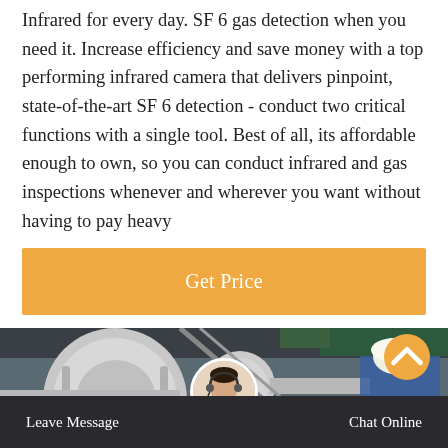Infrared for every day. SF 6 gas detection when you need it. Increase efficiency and save money with a top performing infrared camera that delivers pinpoint, state-of-the-art SF 6 detection - conduct two critical functions with a single tool. Best of all, its affordable enough to own, so you can conduct infrared and gas inspections whenever and wherever you want without having to pay heavy
[Figure (other): Orange 'Get Price' button]
[Figure (photo): Industrial scene showing large white pipe fittings and valves, with a worker in a blue jacket and white hard hat inspecting equipment. An orange circular scroll-up button appears in the lower right. A chat support bar at the bottom shows 'Leave Message' on the left and 'Chat Online' on the right, with a circular avatar of a customer support woman in the center.]